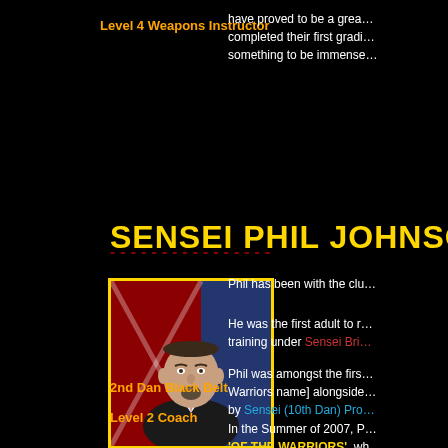have proved to be a great… completed their first gradi… something to be immense…
Level 4 Weapons Instructor
SENSEI PHIL JOHNSON ---
[Figure (photo): Headshot photo of Sensei Phil Johnson in a suit with a red tie, in front of a Union Jack flag background.]
Phil has been with the clu…
He was the first adult to r… training under Sensei Bri…
Phil was amongst the firs… Warriors name] alongside… by Sensei (10th Dan) Pro…
In the Summer of 2007, P… 'OF THE WARRIORS', wh… Demonstration, which wa… 2008, alongside an 'epic'…
2nd Dan Black Belt
Level 2 Coach